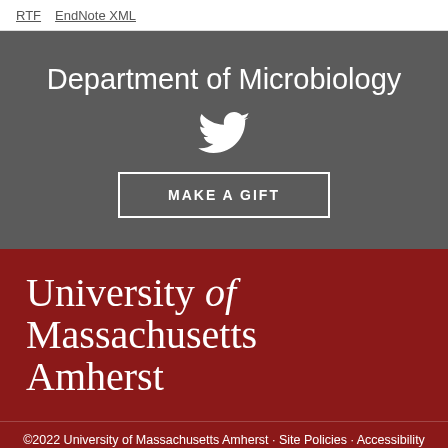RTF  EndNote XML
Department of Microbiology
[Figure (logo): Twitter bird icon in white]
MAKE A GIFT
[Figure (logo): University of Massachusetts Amherst logo text in white on dark red background]
©2022 University of Massachusetts Amherst · Site Policies · Accessibility